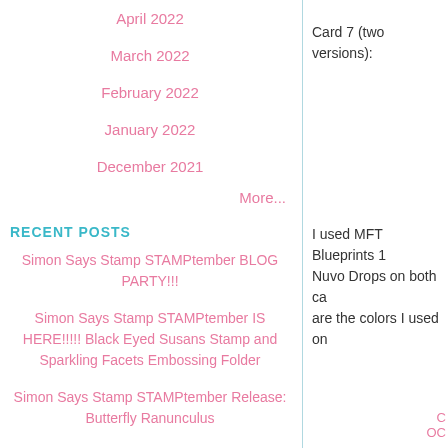April 2022
March 2022
February 2022
January 2022
December 2021
More...
RECENT POSTS
Simon Says Stamp STAMPtember BLOG PARTY!!!
Simon Says Stamp STAMPtember IS HERE!!!!! Black Eyed Susans Stamp and Sparkling Facets Embossing Folder
Simon Says Stamp STAMPtember Release: Butterfly Ranunculus
Simon Says Stamp Suzy's Watercolor Cards: Roses Are Red
Penny Black Blooming Rubber Stamp From
Card 7 (two versions):
I used MFT Blueprints 1 Nuvo Drops on both ca are the colors I used on
Oc